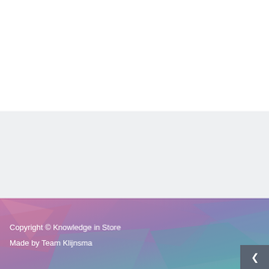[Figure (illustration): White blank top section of a web page layout]
[Figure (illustration): Light gray section with LinkedIn 'in' icon on the right side]
[Figure (illustration): Colorful footer with pink, purple, teal polygon gradient background]
Copyright © Knowledge in Store
Made by Team Klijnsma